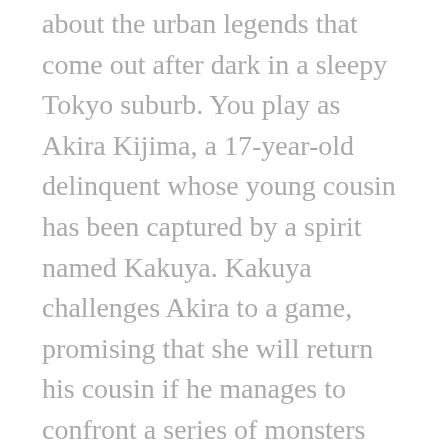about the urban legends that come out after dark in a sleepy Tokyo suburb. You play as Akira Kijima, a 17-year-old delinquent whose young cousin has been captured by a spirit named Kakuya. Kakuya challenges Akira to a game, promising that she will return his cousin if he manages to confront a series of monsters local to the neighborhood of Kissouji.
The overarching story of Kakuya's game is somewhat silly, as are the protagonist and supporting characters. The stars of the game are the urban legends that form the core of each of the seven chapters. As far as I can tell, these urban legends are all original, and it's a lot of fun to slowly gather the details of the stories. The